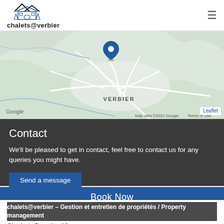chalets@verbier
[Figure (map): Map showing Verbier, Switzerland with a blue location pin marker. Map data ©2022 Google. Leaflet attribution shown.]
Contact
We'll be pleased to get in contact, feel free to contact us for any queries you might have.
Send a message
Book Now
chalets@verbier – Gestion et entretien de propriétés / Property management
Ch. de la Barmète 18